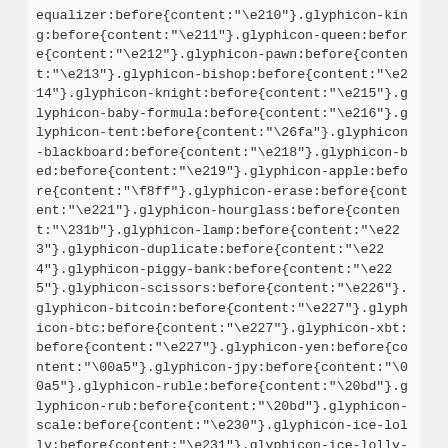equalizer:before{content:"\e210"}.glyphicon-king:before{content:"\e211"}.glyphicon-queen:before{content:"\e212"}.glyphicon-pawn:before{content:"\e213"}.glyphicon-bishop:before{content:"\e214"}.glyphicon-knight:before{content:"\e215"}.glyphicon-baby-formula:before{content:"\e216"}.glyphicon-tent:before{content:"\26fa"}.glyphicon-blackboard:before{content:"\e218"}.glyphicon-bed:before{content:"\e219"}.glyphicon-apple:before{content:"\f8ff"}.glyphicon-erase:before{content:"\e221"}.glyphicon-hourglass:before{content:"\231b"}.glyphicon-lamp:before{content:"\e223"}.glyphicon-duplicate:before{content:"\e224"}.glyphicon-piggy-bank:before{content:"\e225"}.glyphicon-scissors:before{content:"\e226"}.glyphicon-bitcoin:before{content:"\e227"}.glyphicon-btc:before{content:"\e227"}.glyphicon-xbt:before{content:"\e227"}.glyphicon-yen:before{content:"\00a5"}.glyphicon-jpy:before{content:"\00a5"}.glyphicon-ruble:before{content:"\20bd"}.glyphicon-rub:before{content:"\20bd"}.glyphicon-scale:before{content:"\e230"}.glyphicon-ice-lolly:before{content:"\e231"}.glyphicon-ice-lolly-tasted:before{content:"\e232"}.glyphicon-